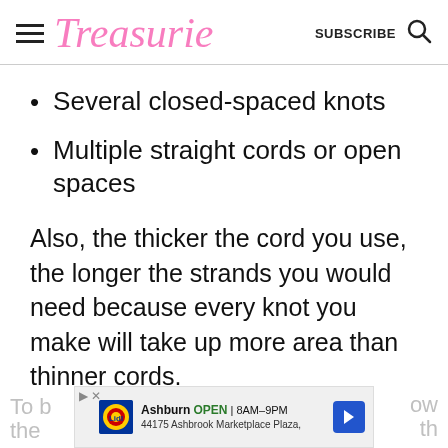Treasurie  SUBSCRIBE
Several closed-spaced knots
Multiple straight cords or open spaces
Also, the thicker the cord you use, the longer the strands you would need because every knot you make will take up more area than thinner cords.
To b... ow the... th
[Figure (screenshot): Lidl advertisement overlay showing: Ashburn OPEN 8AM-9PM, 44175 Ashbrook Marketplace Plaza, with Lidl logo and navigation arrow]